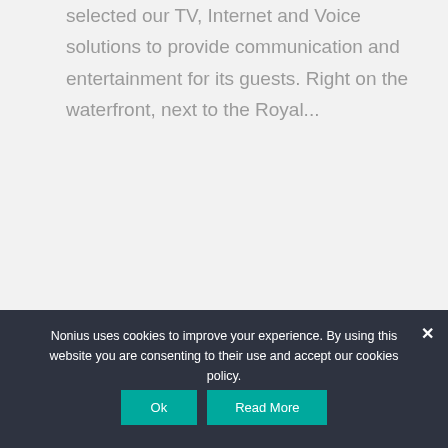selected our TV, Internet and Voice solutions to provide communication and entertainment for its guests. Right on the waterfront, next to the Royal...
Read More
Nonius uses cookies to improve your experience. By using this website you are consenting to their use and accept our cookies policy.
Ok
Read More